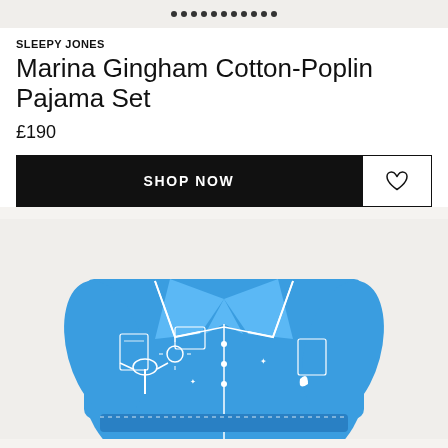[Figure (photo): Top strip showing partial view of a product image with dots/pattern visible at the top]
SLEEPY JONES
Marina Gingham Cotton-Poplin Pajama Set
£190
SHOP NOW
[Figure (photo): Blue printed cotton-poplin pajama shirt with white tropical and celestial motifs including palm trees, suns, moons, hands, and tarot-style illustrations, shown on a light beige background]